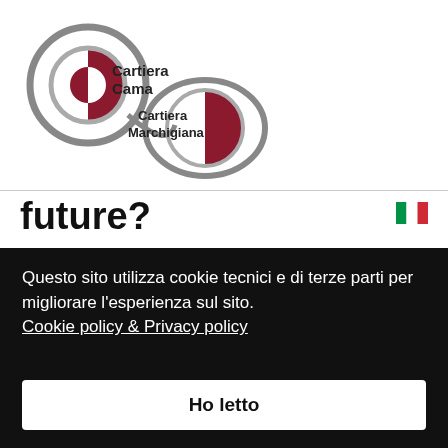[Figure (logo): Cartiera Cama and Cartiera Marchigiana company logos with circular graphic elements in dark red and grey]
future?
Reducing packaging waste is part of the Green Deal's agenda to reach Europe's climate neutrality goal. Brussels is working on revamping the bloc's sustainable packaging rules – so called "PPWD" – expected in July, sparking worry from both industry and NGOs. The two fear the Commission will replicate some of the problems
Questo sito utilizza cookie tecnici e di terze parti per migliorare l'esperienza sul sito.
Cookie policy & Privacy policy
Ho letto